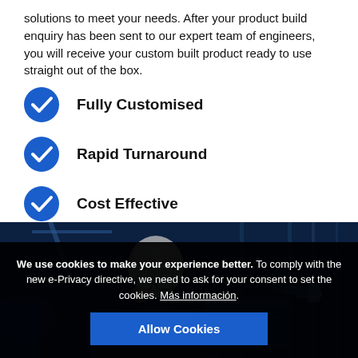solutions to meet your needs. After your product build enquiry has been sent to our expert team of engineers, you will receive your custom built product ready to use straight out of the box.
Fully Customised
Rapid Turnaround
Cost Effective
[Figure (photo): An engineer with grey hair and glasses sits at a workstation with monitors in a dark technical environment, viewed from behind/side.]
We use cookies to make your experience better. To comply with the new e-Privacy directive, we need to ask for your consent to set the cookies. Más información. Allow Cookies